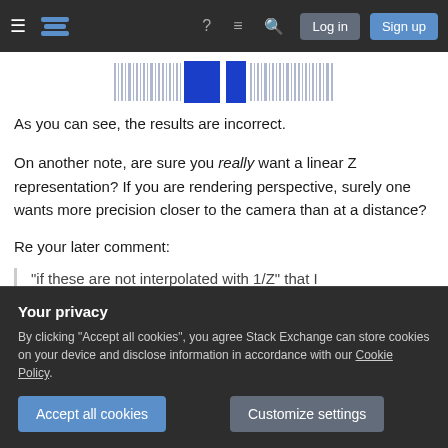Stack Exchange navigation bar with hamburger menu, logo, help, chat, search icons, Log in and Sign up buttons
[Figure (other): A barcode-like image strip with blue vertical lines on white background, with a solid blue rectangle in the center]
As you can see, the results are incorrect.
On another note, are sure you really want a linear Z representation? If you are rendering perspective, surely one wants more precision closer to the camera than at a distance?
Re your later comment:
"if these are not interpolated with 1/Z" that I
Your privacy
By clicking "Accept all cookies", you agree Stack Exchange can store cookies on your device and disclose information in accordance with our Cookie Policy.
Accept all cookies
Customize settings
remain straight lines in perspective space.